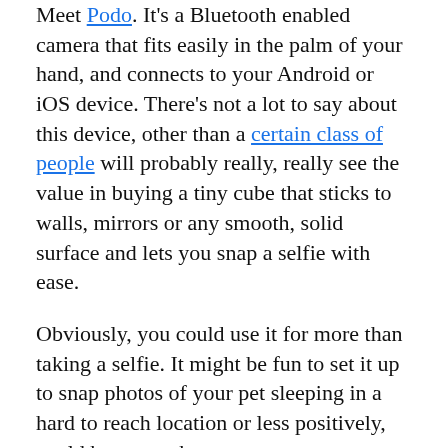Meet Podo. It's a Bluetooth enabled camera that fits easily in the palm of your hand, and connects to your Android or iOS device. There's not a lot to say about this device, other than a certain class of people will probably really, really see the value in buying a tiny cube that sticks to walls, mirrors or any smooth, solid surface and lets you snap a selfie with ease.
Obviously, you could use it for more than taking a selfie. It might be fun to set it up to snap photos of your pet sleeping in a hard to reach location or less positively, could become a boon to voyeurs everywhere. The photos it snaps are transmitted wirelessly back to your device via the Bluetooth connection.
The device is part of a Kickstarter campaign launching Monday with an early bird special of $79 per Podo and a regular Kickstarter price of $89 per camera. The regular price will be $99. Podo was founded in 2013 and had